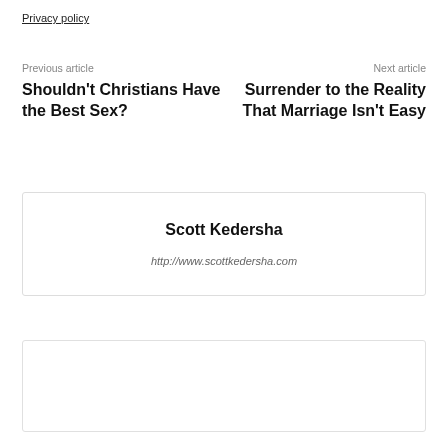Privacy policy
Previous article
Next article
Shouldn't Christians Have the Best Sex?
Surrender to the Reality That Marriage Isn't Easy
Scott Kedersha
http://www.scottkedersha.com